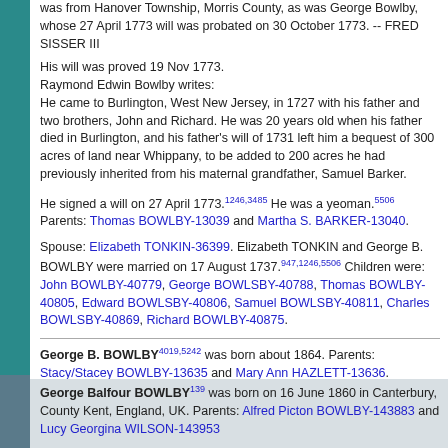was from Hanover Township, Morris County, as was George Bowlby, whose 27 April 1773 will was probated on 30 October 1773. -- FRED SISSER III
His will was proved 19 Nov 1773. Raymond Edwin Bowlby writes: He came to Burlington, West New Jersey, in 1727 with his father and two brothers, John and Richard. He was 20 years old when his father died in Burlington, and his father's will of 1731 left him a bequest of 300 acres of land near Whippany, to be added to 200 acres he had previously inherited from his maternal grandfather, Samuel Barker.
He signed a will on 27 April 1773.[1246,3485] He was a yeoman.[5506] Parents: Thomas BOWLBY-13039 and Martha S. BARKER-13040.
Spouse: Elizabeth TONKIN-36399. Elizabeth TONKIN and George B. BOWLBY were married on 17 August 1737.[947,1246,5506] Children were: John BOWLBY-40779, George BOWLSBY-40788, Thomas BOWLBY-40805, Edward BOWLSBY-40806, Samuel BOWLSBY-40811, Charles BOWLSBY-40869, Richard BOWLBY-40875.
George B. BOWLBY[4019,5242] was born about 1864. Parents: Stacy/Stacey BOWLBY-13635 and Mary Ann HAZLETT-13636.
George Balfour BOWLBY[139] was born on 16 June 1860 in Canterbury, County Kent, England, UK. Parents: Alfred Picton BOWLBY-143883 and Lucy Georgina WILSON-143953